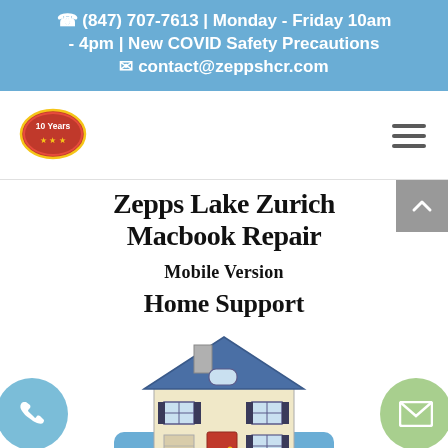📞 (847) 707-7613 | Monday - Friday 10am - 4pm | New COVID Safety Precautions ✉ contact@zeppshcr.com
[Figure (logo): Red oval badge logo with '10 Years' text and stars]
Zepps Lake Zurich Macbook Repair
Mobile Version
Home Support
[Figure (illustration): Illustrated clipart of a two-story suburban house with blue roof and red door]